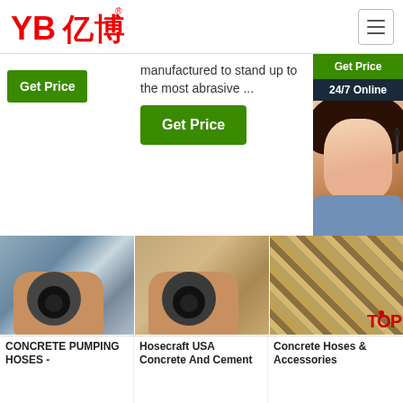[Figure (logo): YB亿博 logo in red with registered trademark symbol]
[Figure (screenshot): Hamburger menu icon (three horizontal lines) in a bordered box]
[Figure (photo): Green Get Price button on left column]
manufactured to stand up to the most abrasive ...
[Figure (screenshot): Green Get Price button (large)]
[Figure (screenshot): Dark panel with Get Price and 24/7 Online labels, customer service representative photo, Click here for free chat text, and QUOTATION button]
[Figure (photo): Close-up of a concrete pumping hose end held in hand]
[Figure (photo): Close-up of a concrete hose end held in hand (Hosecraft USA)]
[Figure (photo): Braided hose (Concrete Hoses & Accessories) with TOP watermark]
CONCRETE PUMPING HOSES -
Hosecraft USA Concrete And Cement
Concrete Hoses & Accessories